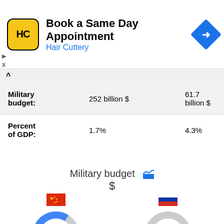[Figure (infographic): Hair Cuttery advertisement banner: Book a Same Day Appointment with HC logo and navigation arrow icon]
|  | Value 1 | Value 2 |
| --- | --- | --- |
| Military budget: | 252 billion $ | 61.7 billion $ |
| Percent of GDP: | 1.7% | 4.3% |
Military budget $
[Figure (donut-chart): China military budget share]
[Figure (donut-chart): Russia military budget share]